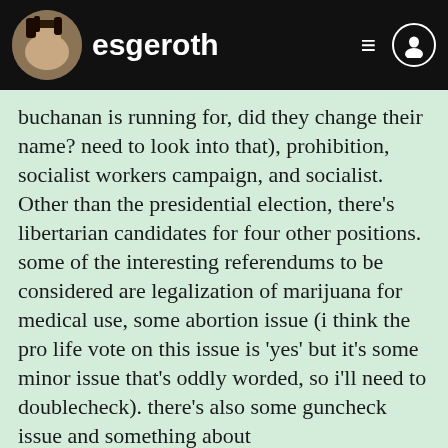esgeroth
buchanan is running for, did they change their name? need to look into that), prohibition, socialist workers campaign, and socialist. Other than the presidential election, there's libertarian candidates for four other positions. some of the interesting referendums to be considered are legalization of marijuana for medical use, some abortion issue (i think the pro life vote on this issue is 'yes' but it's some minor issue that's oddly worded, so i'll need to doublecheck). there's also some guncheck issue and something about